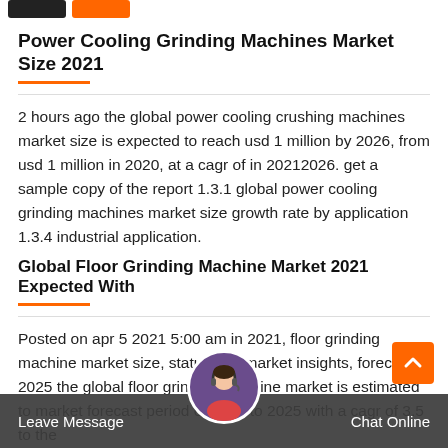[Navigation buttons: black button, orange button]
Power Cooling Grinding Machines Market Size 2021
2 hours ago the global power cooling crushing machines market size is expected to reach usd 1 million by 2026, from usd 1 million in 2020, at a cagr of in 20212026. get a sample copy of the report 1.3.1 global power cooling grinding machines market size growth rate by application 1.3.4 industrial application.
Global Floor Grinding Machine Market 2021 Expected With
Posted on apr 5 2021 5:00 am in 2021, floor grinding machine market size, status and market insights, forecast to 2025 the glob... r grinding machine ma... ated t... market... forecast period of 2021 to 2025 with a cagr of 3.5 to the
Leave Message    Chat Online